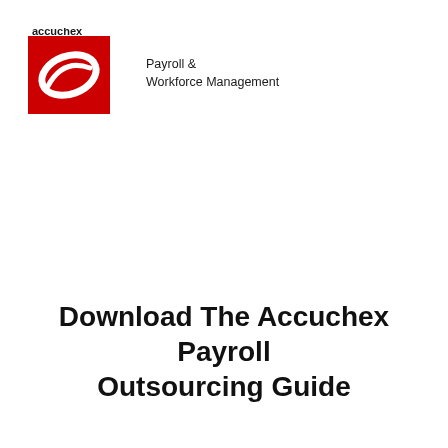[Figure (logo): Accuchex logo: red square with white swish/oval graphic, company name 'accuchex' in bold above, tagline 'Payroll & Workforce Management' to the right]
Download The Accuchex Payroll Outsourcing Guide